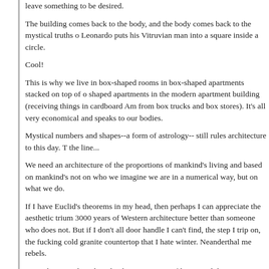leave something to be desired.
The building comes back to the body, and the body comes back to the mystical truths o Leonardo puts his Vitruvian man into a square inside a circle.
Cool!
This is why we live in box-shaped rooms in box-shaped apartments stacked on top of o shaped apartments in the modern apartment building (receiving things in cardboard Am from box trucks and box stores). It's all very economical and speaks to our bodies.
Mystical numbers and shapes--a form of astrology-- still rules architecture to this day. T the line...
We need an architecture of the proportions of mankind's living and based on mankind's not on who we imagine we are in a numerical way, but on what we do.
If I have Euclid's theorems in my head, then perhaps I can appreciate the aesthetic trium 3000 years of Western architecture better than someone who does not. But if I don't all door handle I can't find, the step I trip on, the fucking cold granite countertop that I hate winter. Neanderthal me rebels.
An architecture based on the the proportions of living and thriving, not on abstract natu What would that look like, and has anyone tried it before? I dunno. This is why I'm goi architecture school. This is my burning question.
I will be sad to find only hippies living in sod homes as an answer. I don't like disease. hot and cold running water. Euclid has brought us much.
But so did the Great Chain of Being.